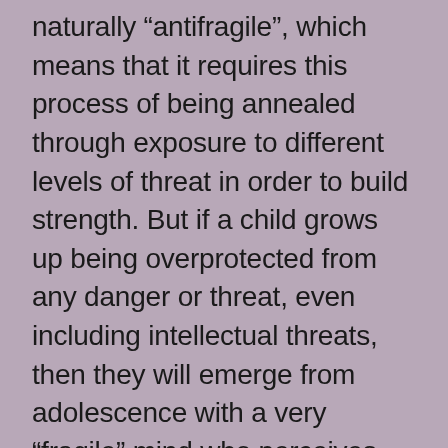naturally “antifragile”, which means that it requires this process of being annealed through exposure to different levels of threat in order to build strength. But if a child grows up being overprotected from any danger or threat, even including intellectual threats, then they will emerge from adolescence with a very “fragile” mind who perceives challenges to their worldview as a threat to their very existence, and is in fact at risk of being traumatised by such encounters. For many within this generation “words are